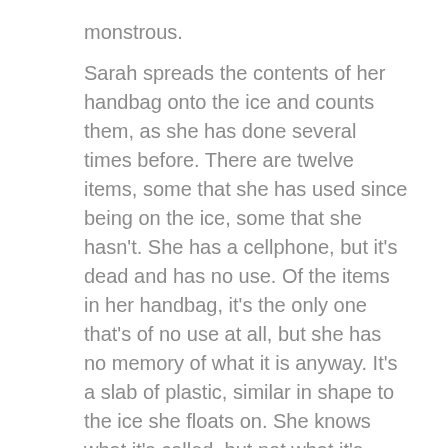monstrous.
Sarah spreads the contents of her handbag onto the ice and counts them, as she has done several times before. There are twelve items, some that she has used since being on the ice, some that she hasn't. She has a cellphone, but it's dead and has no use. Of the items in her handbag, it's the only one that's of no use at all, but she has no memory of what it is anyway. It's a slab of plastic, similar in shape to the ice she floats on. She knows what it's called, but not what it's used for. She holds it in her hands for several minutes, staring at its